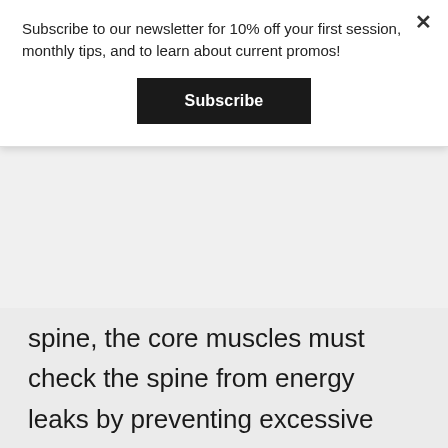Subscribe to our newsletter for 10% off your first session, monthly tips, and to learn about current promos!
Subscribe
spine, the core muscles must check the spine from energy leaks by preventing excessive rotation (which would ‘absorb’ force). To practice this movement, the unit turn is used. A unit turn is when the body rotates through the hips while keeping the spine relatively rigid. This means the hips and shoulders will face the same direction